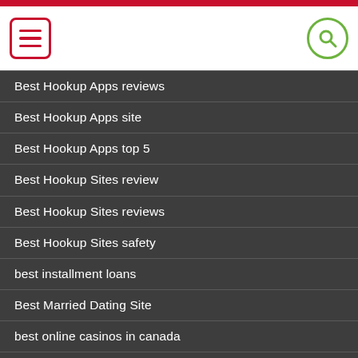[Figure (screenshot): Mobile website header with red menu icon (hamburger) on left and green search icon (magnifying glass) on right, on white background with red top bar]
Best Hookup Apps reviews
Best Hookup Apps site
Best Hookup Apps top 5
Best Hookup Sites review
Best Hookup Sites reviews
Best Hookup Sites safety
best installment loans
Best Married Dating Site
best online casinos in canada
best online gambling canada
best online payday loans
best opening lines on tinder service
best pay day loans